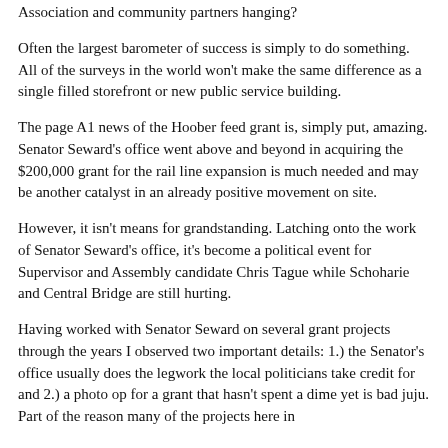Association and community partners hanging?
Often the largest barometer of success is simply to do something. All of the surveys in the world won't make the same difference as a single filled storefront or new public service building.
The page A1 news of the Hoober feed grant is, simply put, amazing. Senator Seward's office went above and beyond in acquiring the $200,000 grant for the rail line expansion is much needed and may be another catalyst in an already positive movement on site.
However, it isn't means for grandstanding. Latching onto the work of Senator Seward's office, it's become a political event for Supervisor and Assembly candidate Chris Tague while Schoharie and Central Bridge are still hurting.
Having worked with Senator Seward on several grant projects through the years I observed two important details: 1.) the Senator's office usually does the legwork the local politicians take credit for and 2.) a photo op for a grant that hasn't spent a dime yet is bad juju. Part of the reason many of the projects here in